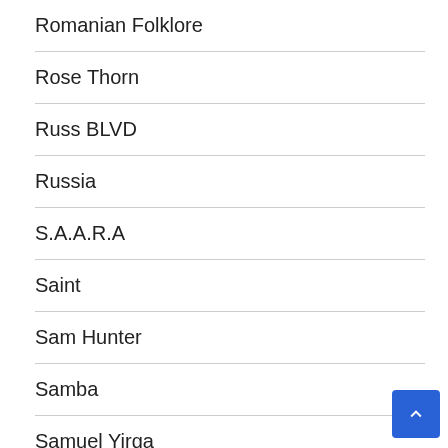Romanian Folklore
Rose Thorn
Russ BLVD
Russia
S.A.A.R.A
Saint
Sam Hunter
Samba
Samuel Yirga